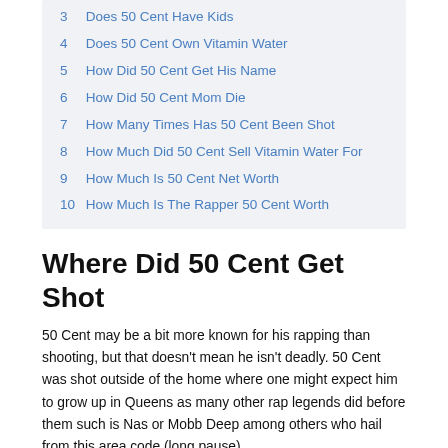3  Does 50 Cent Have Kids
4  Does 50 Cent Own Vitamin Water
5  How Did 50 Cent Get His Name
6  How Did 50 Cent Mom Die
7  How Many Times Has 50 Cent Been Shot
8  How Much Did 50 Cent Sell Vitamin Water For
9  How Much Is 50 Cent Net Worth
10  How Much Is The Rapper 50 Cent Worth
Where Did 50 Cent Get Shot
50 Cent may be a bit more known for his rapping than shooting, but that doesn't mean he isn't deadly. 50 Cent was shot outside of the home where one might expect him to grow up in Queens as many other rap legends did before them such is Nas or Mobb Deep among others who hail from this area code (long pause).